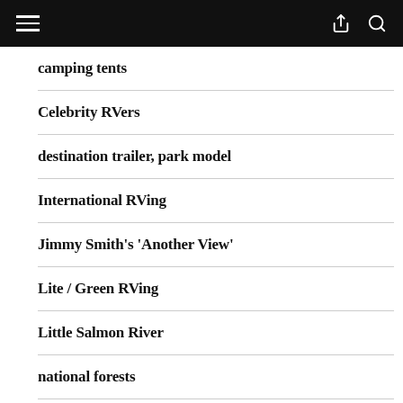camping tents
Celebrity RVers
destination trailer, park model
International RVing
Jimmy Smith's 'Another View'
Lite / Green RVing
Little Salmon River
national forests
national parks